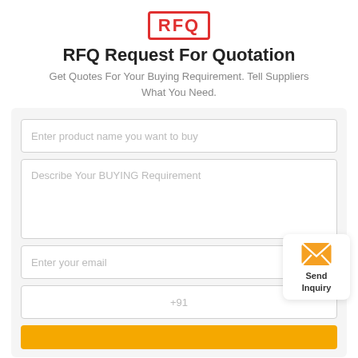[Figure (logo): RFQ stamp logo with red border and red bold text 'RFQ']
RFQ Request For Quotation
Get Quotes For Your Buying Requirement. Tell Suppliers What You Need.
Enter product name you want to buy
Describe Your BUYING Requirement
Enter your email
+91
[Figure (illustration): Send Inquiry button with orange envelope icon and text 'Send Inquiry']